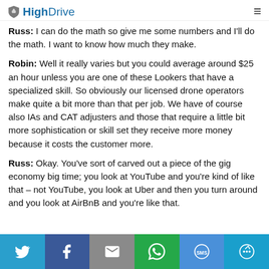HighDrive
Russ: I can do the math so give me some numbers and I'll do the math. I want to know how much they make.
Robin: Well it really varies but you could average around $25 an hour unless you are one of these Lookers that have a specialized skill. So obviously our licensed drone operators make quite a bit more than that per job. We have of course also IAs and CAT adjusters and those that require a little bit more sophistication or skill set they receive more money because it costs the customer more.
Russ: Okay. You've sort of carved out a piece of the gig economy big time; you look at YouTube and you're kind of like that – not YouTube, you look at Uber and then you turn around and you look at AirBnB and you're like that.
Twitter Facebook Email WhatsApp SMS More